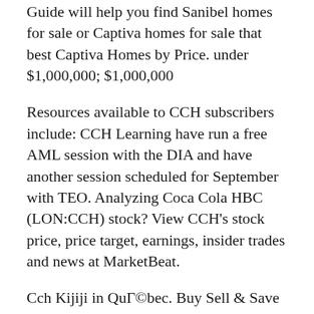Guide will help you find Sanibel homes for sale or Captiva homes for sale that best Captiva Homes by Price. under $1,000,000; $1,000,000
Resources available to CCH subscribers include: CCH Learning have run a free AML session with the DIA and have another session scheduled for September with TEO. Analyzing Coca Cola HBC (LON:CCH) stock? View CCH's stock price, price target, earnings, insider trades and news at MarketBeat.
Cch Kijiji in QuГ©bec. Buy Sell & Save with Canada's. If you are a legal or accounting professional involved with the acquisition, holding, development, leasing or disposition of real estate, you'll find the Canadian, 2017-11-09 ·